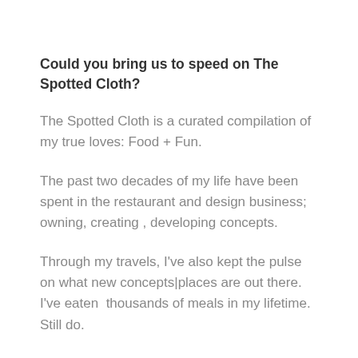Could you bring us to speed on The Spotted Cloth?
The Spotted Cloth is a curated compilation of my true loves: Food + Fun.
The past two decades of my life have been spent in the restaurant and design business; owning, creating , developing concepts.
Through my travels, I've also kept the pulse on what new concepts|places are out there. I've eaten  thousands of meals in my lifetime. Still do.
My 5 year old daughter has probably eaten at